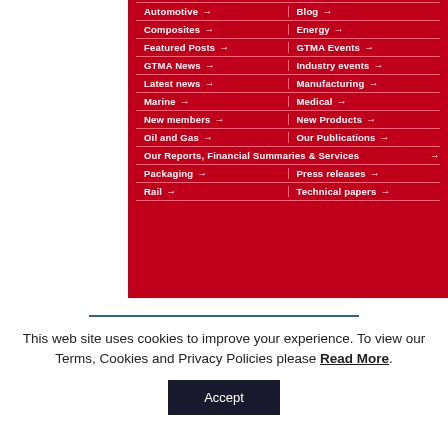[Figure (screenshot): Red navigation menu panel with white text links arranged in two columns, each item followed by a right arrow. Items include: Automotive, Blog, Composites, Energy, Featured Posts, GTMA Events, GTMA News, Industry events, Latest news, Manufacturing, Marine, Medical, New members, New Products, Oil and Gas, Our Publications, Our Reports Financial Summaries & Services, Packaging, Press releases, Rail, Technical papers.]
This web site uses cookies to improve your experience. To view our Terms, Cookies and Privacy Policies please Read More.
Accept